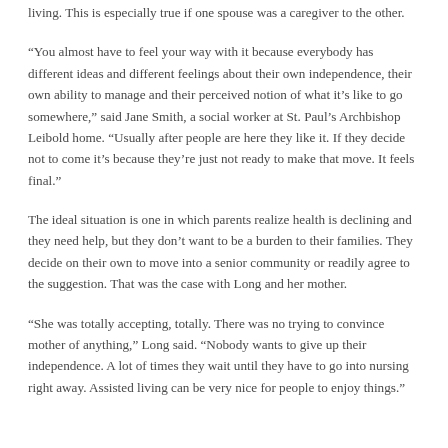living. This is especially true if one spouse was a caregiver to the other.
“You almost have to feel your way with it because everybody has different ideas and different feelings about their own independence, their own ability to manage and their perceived notion of what it’s like to go somewhere,” said Jane Smith, a social worker at St. Paul’s Archbishop Leibold home. “Usually after people are here they like it. If they decide not to come it’s because they’re just not ready to make that move. It feels final.”
The ideal situation is one in which parents realize health is declining and they need help, but they don’t want to be a burden to their families. They decide on their own to move into a senior community or readily agree to the suggestion. That was the case with Long and her mother.
“She was totally accepting, totally. There was no trying to convince mother of anything,” Long said. “Nobody wants to give up their independence. A lot of times they wait until they have to go into nursing right away. Assisted living can be very nice for people to enjoy things.”